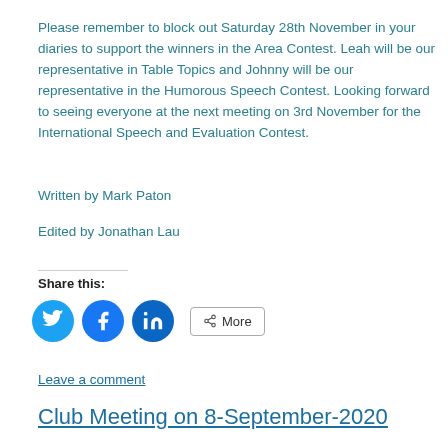Please remember to block out Saturday 28th November in your diaries to support the winners in the Area Contest. Leah will be our representative in Table Topics and Johnny will be our representative in the Humorous Speech Contest. Looking forward to seeing everyone at the next meeting on 3rd November for the International Speech and Evaluation Contest.
Written by Mark Paton
Edited by Jonathan Lau
Share this:
Leave a comment
Club Meeting on 8-September-2020